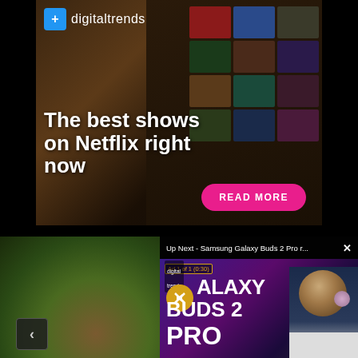[Figure (screenshot): Digital Trends advertisement for 'The best shows on Netflix right now' featuring a tablet displaying Netflix interface, with a pink 'READ MORE' button]
[Figure (screenshot): Bottom left: partial photo of a person's wrist/hand with green foliage background and a navigation arrow. Bottom right: video player panel showing 'Up Next - Samsung Galaxy Buds 2 Pro r...' with ad counter 'Ad 1 of 1 (0:30)' and Galaxy Buds 2 Pro promotional video thumbnail with a presenter.]